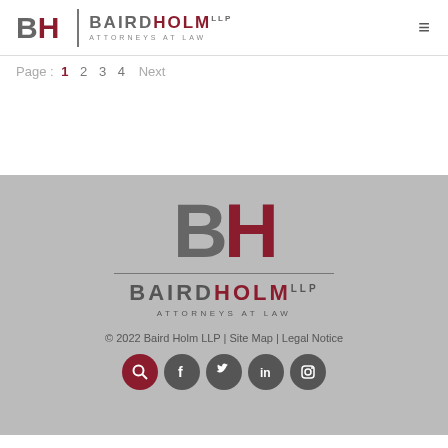BH | BairdHolm LLP Attorneys at Law
Page : 1 2 3 4 Next
[Figure (logo): Baird Holm LLP attorneys at law footer logo with large BH monogram, horizontal divider line, firm name and attorneys at law text]
© 2022 Baird Holm LLP | Site Map | Legal Notice